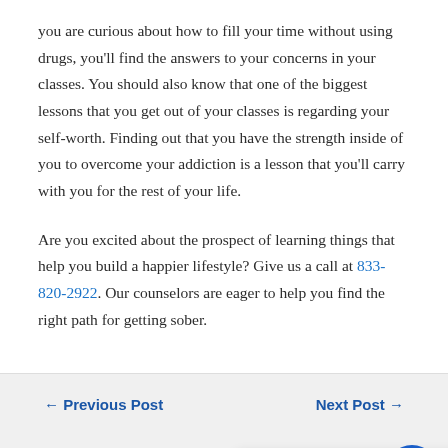you are curious about how to fill your time without using drugs, you'll find the answers to your concerns in your classes. You should also know that one of the biggest lessons that you get out of your classes is regarding your self-worth. Finding out that you have the strength inside of you to overcome your addiction is a lesson that you'll carry with you for the rest of your life.
Are you excited about the prospect of learning things that help you build a happier lifestyle? Give us a call at 833-820-2922. Our counselors are eager to help you find the right path for getting sober.
← Previous Post   Next Post →
Search ...
We're offline
Leave a message